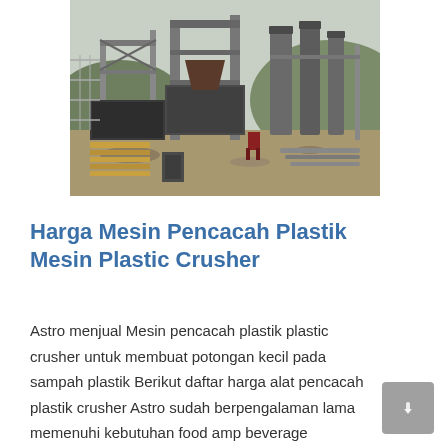[Figure (photo): Outdoor industrial machinery facility showing large metal structures, silos, conveyor equipment, steel frames, lumber stacks, and construction debris on a rocky site.]
Harga Mesin Pencacah Plastik Mesin Plastic Crusher
Astro menjual Mesin pencacah plastik plastic crusher untuk membuat potongan kecil pada sampah plastik Berikut daftar harga alat pencacah plastik crusher Astro sudah berpengalaman lama memenuhi kebutuhan food amp beverage equipment di Indonesia ...